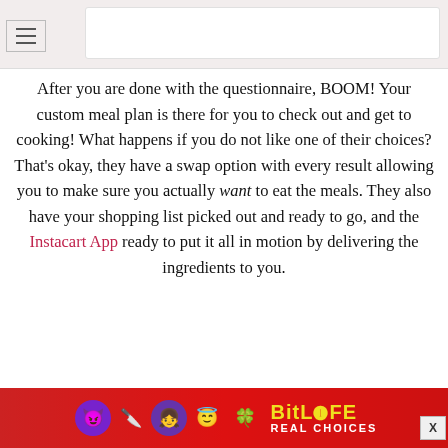[Figure (screenshot): Top navigation bar with search/input field and hamburger menu icon]
After you are done with the questionnaire, BOOM! Your custom meal plan is there for you to check out and get to cooking! What happens if you do not like one of their choices? That’s okay, they have a swap option with every result allowing you to make sure you actually want to eat the meals. They also have your shopping list picked out and ready to go, and the Instacart App ready to put it all in motion by delivering the ingredients to you.
My results
[Figure (photo): Two food/nature photos side by side, partially visible — green plants and white elements]
[Figure (screenshot): Advertisement banner: BitLife Real Choices app ad with emoji characters on red background]